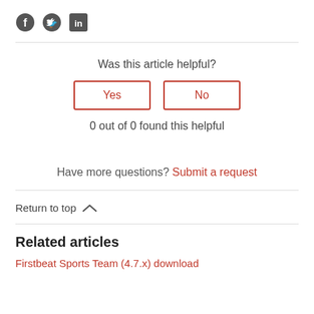[Figure (illustration): Three social media icons: Facebook (circle with f), Twitter (bird), LinkedIn (square with in)]
Was this article helpful?
Yes | No (vote buttons)
0 out of 0 found this helpful
Have more questions? Submit a request
Return to top ∧
Related articles
Firstbeat Sports Team (4.7.x) download